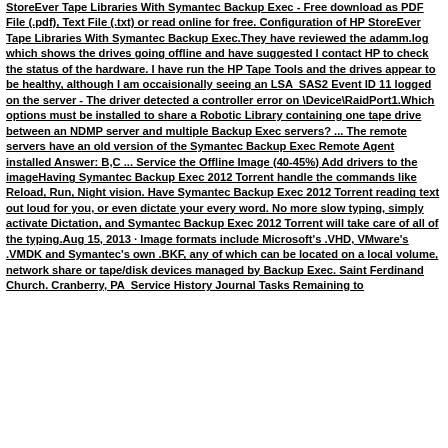StoreEver Tape Libraries With Symantec Backup Exec - Free download as PDF File (.pdf), Text File (.txt) or read online for free. Configuration of HP StoreEver Tape Libraries With Symantec Backup Exec.They have reviewed the adamm.log which shows the drives going offline and have suggested I contact HP to check the status of the hardware. I have run the HP Tape Tools and the drives appear to be healthy, although I am occaisionally seeing an LSA  SAS2 Event ID 11 logged on the server - The driver detected a controller error on \Device\RaidPort1.Which options must be installed to share a Robotic Library containing one tape drive between an NDMP server and multiple Backup Exec servers? ... The remote servers have an old version of the Symantec Backup Exec Remote Agent installed Answer: B,C ... Service the Offline Image (40-45%) Add drivers to the imageHaving Symantec Backup Exec 2012 Torrent handle the commands like Reload, Run, Night vision. Have Symantec Backup Exec 2012 Torrent reading text out loud for you, or even dictate your every word. No more slow typing, simply activate Dictation, and Symantec Backup Exec 2012 Torrent will take care of all of the typing.Aug 15, 2013 · Image formats include Microsoft's .VHD, VMware's .VMDK and Symantec's own .BKF, any of which can be located on a local volume, network share or tape/disk devices managed by Backup Exec. Saint Ferdinand Church. Cranberry, PA  Service History Journal Tasks Remaining to